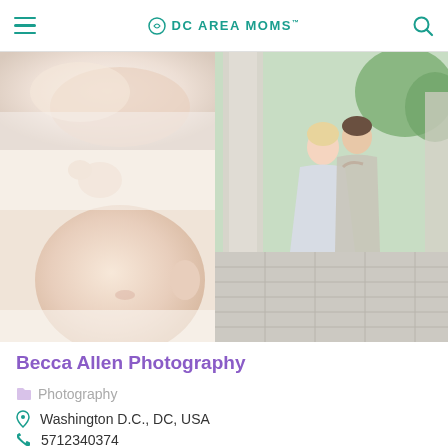DC AREA MOMS
[Figure (photo): Top-left: close-up of sleeping newborn baby in white fabric]
[Figure (photo): Bottom-left: close-up of sleeping newborn baby's head and hands]
[Figure (photo): Right column: pregnant couple embracing at a monument outdoor setting with columns and tiled floor]
Becca Allen Photography
Photography
Washington D.C., DC, USA
5712340374
info@beccaallenphotography.com